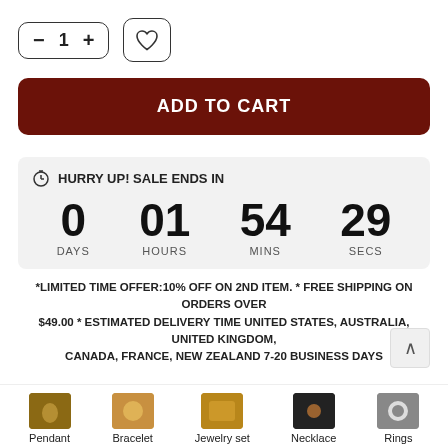[Figure (infographic): Quantity selector with minus and plus buttons showing value 1, and a heart/wishlist button]
[Figure (infographic): Dark red Add to Cart button]
[Figure (infographic): Countdown timer showing 0 DAYS, 01 HOURS, 54 MINS, 29 SECS with header HURRY UP! SALE ENDS IN]
*LIMITED TIME OFFER:10% OFF ON 2ND ITEM. * FREE SHIPPING ON ORDERS OVER $49.00 * ESTIMATED DELIVERY TIME UNITED STATES, AUSTRALIA, UNITED KINGDOM, CANADA, FRANCE, NEW ZEALAND 7-20 BUSINESS DAYS
[Figure (infographic): Category navigation bar with Pendant, Bracelet, Jewelry set, Necklace, Rings thumbnail images and labels]